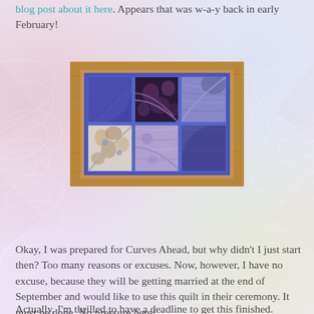blog post about it here. Appears that was w-a-y back in early February!
[Figure (photo): A quilted table runner or wall hanging with curved quilt blocks in purple, blue, and floral fabrics arranged in a grid pattern, displayed on a wooden surface.]
Okay, I was prepared for Curves Ahead, but why didn't I just start then? Too many reasons or excuses. Now, however, I have no excuse, because they will be getting married at the end of September and would like to use this quilt in their ceremony. It must be done. No pressure here!
Actually, I'm thrilled to have a deadline to get this finished.